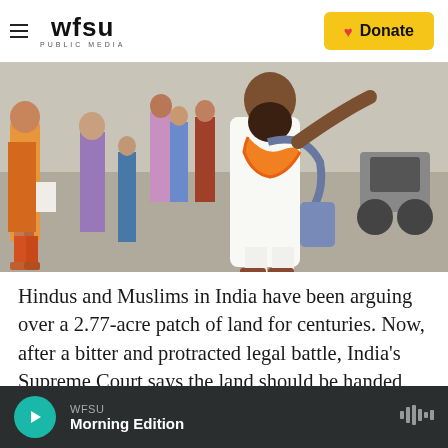WFSU PUBLIC MEDIA | Donate
[Figure (photo): People walking in a street scene in India; a bearded man in white clothing with an orange flower garland around his neck is prominent in the foreground, with other pedestrians and motorcycles in the background.]
Hindus and Muslims in India have been arguing over a 2.77-acre patch of land for centuries. Now, after a bitter and protracted legal battle, India's Supreme Court says the land should be handed over to the Hindu side.
WFSU Morning Edition